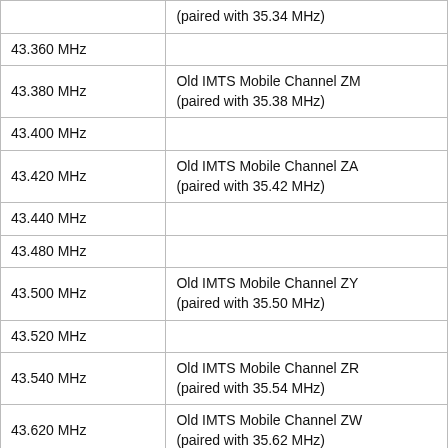| Frequency | Description |
| --- | --- |
|  | (paired with 35.34 MHz) |
| 43.360 MHz |  |
| 43.380 MHz | Old IMTS Mobile Channel ZM (paired with 35.38 MHz) |
| 43.400 MHz |  |
| 43.420 MHz | Old IMTS Mobile Channel ZA (paired with 35.42 MHz) |
| 43.440 MHz |  |
| 43.480 MHz |  |
| 43.500 MHz | Old IMTS Mobile Channel ZY (paired with 35.50 MHz) |
| 43.520 MHz |  |
| 43.540 MHz | Old IMTS Mobile Channel ZR (paired with 35.54 MHz) |
| 43.620 MHz | Old IMTS Mobile Channel ZW (paired with 35.62 MHz) |
| 43.660 MHz | Old IMTS Mobile Channel ZL (paired with 35.66 MHz) |
| 43.700 MHz |  |
|  | shared with low power |